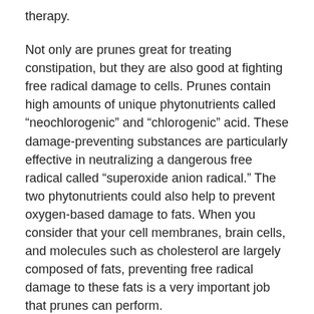therapy.
Not only are prunes great for treating constipation, but they are also good at fighting free radical damage to cells. Prunes contain high amounts of unique phytonutrients called “neochlorogenic” and “chlorogenic” acid. These damage-preventing substances are particularly effective in neutralizing a dangerous free radical called “superoxide anion radical.” The two phytonutrients could also help to prevent oxygen-based damage to fats. When you consider that your cell membranes, brain cells, and molecules such as cholesterol are largely composed of fats, preventing free radical damage to these fats is a very important job that prunes can perform.
One more health benefit of prunes: they are a good source of potassium. Potassium helps to maintain normal blood pressure and heart function.